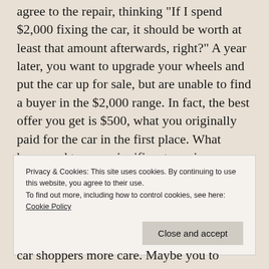agree to the repair, thinking "If I spend $2,000 fixing the car, it should be worth at least that amount afterwards, right?" A year later, you want to upgrade your wheels and put the car up for sale, but are unable to find a buyer in the $2,000 range. In fact, the best offer you get is $500, what you originally paid for the car in the first place. What happened to your significant repair investment?
Privacy & Cookies: This site uses cookies. By continuing to use this website, you agree to their use.
To find out more, including how to control cookies, see here: Cookie Policy
car shoppers more care. Maybe you to spend